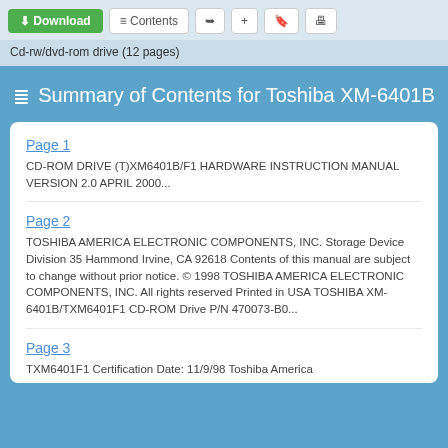Download | Contents
Cd-rw/dvd-rom drive (12 pages)
Summary of Contents for Toshiba XM-6401B
Page 1
CD-ROM DRIVE (T)XM6401B/F1 HARDWARE INSTRUCTION MANUAL VERSION 2.0 APRIL 2000...
Page 2
TOSHIBA AMERICA ELECTRONIC COMPONENTS, INC. Storage Device Division 35 Hammond Irvine, CA 92618 Contents of this manual are subject to change without prior notice. © 1998 TOSHIBA AMERICA ELECTRONIC COMPONENTS, INC. All rights reserved Printed in USA TOSHIBA XM-6401B/TXM6401F1 CD-ROM Drive P/N 470073-B0...
Page 3
TXM6401F1 Certification Date: 11/9/98 Toshiba America